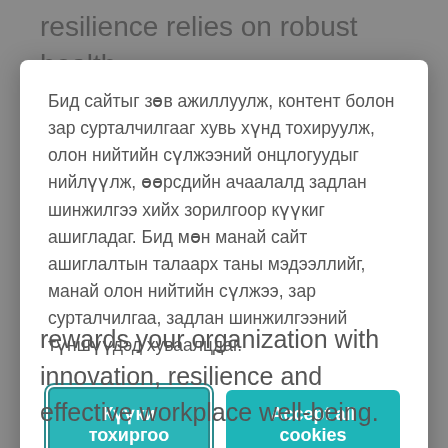resilience relies on robust health
Бид сайтыг зөв ажиллуулж, контент болон зар сурталчилгааг хувь хүнд тохируулж, олон нийтийн сүлжээний онцлогуудыг нийлүүлж, өөрсдийн ачаалалд задлан шинжилгээ хийх зорилгоор күүкиг ашигладаг. Бид мөн манай сайт ашиглалтын талаарх таны мэдээллийг, манай олон нийтийн сүлжээ, зар сурталчилгаа, задлан шинжилгээний түншүүдэд хуваалцдаг.
Күүки тохиргоо
Accept all cookies
rewards your organization with innovation, resilience and effective workplace well-being.